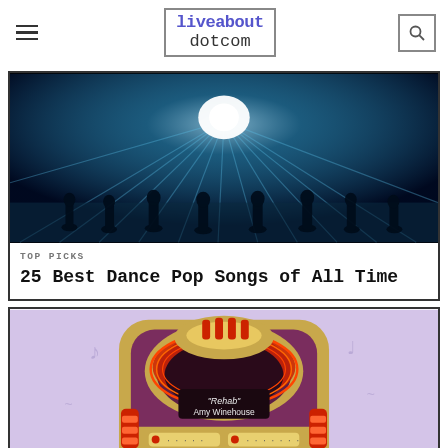liveabout dotcom
[Figure (photo): Dark concert/dance scene with blue light rays emanating from a bright white light source, silhouettes of people dancing]
TOP PICKS
25 Best Dance Pop Songs of All Time
[Figure (illustration): Colorful jukebox illustration with purple/gold/red colors, showing 'Rehab' by Amy Winehouse on the display]
We help people find answers, solve problems and get inspired.